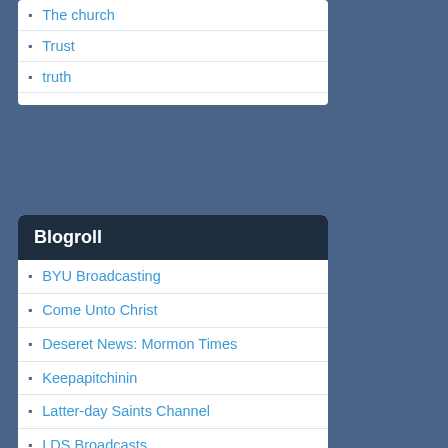Trust
truth
Blogroll
BYU Broadcasting
Come Unto Christ
Deseret News: Mormon Times
Keepapitchinin
Latter-day Saints Channel
LDS Broadcasts
LDS Media Portal
LDS Scripture Citation Index
The Church of Jesus Christ of Latter-day Saints Youtube Channel
The LDS Scriptures